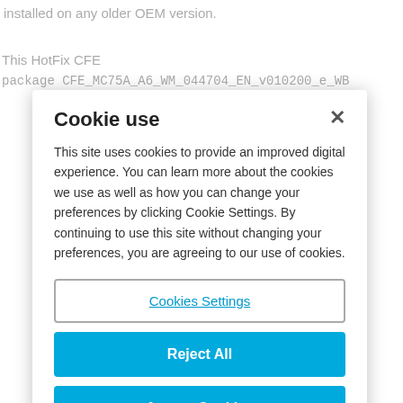installed on any older OEM version.
This HotFix CFE
package CFE_MC75A_A6_WM_044704_EN_v010200_e_WB
[Figure (screenshot): Cookie use consent modal dialog with title 'Cookie use', close X button, descriptive text about cookies, a 'Cookies Settings' outlined button, a 'Reject All' blue button, and an 'Accept Cookies' blue button.]